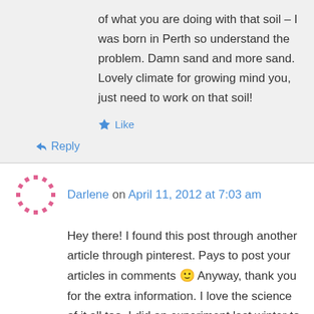of what you are doing with that soil – I was born in Perth so understand the problem. Damn sand and more sand.
Lovely climate for growing mind you, just need to work on that soil!
★ Like
↳ Reply
Darlene on April 11, 2012 at 7:03 am
Hey there! I found this post through another article through pinterest. Pays to post your articles in comments 🙂 Anyway, thank you for the extra information. I love the science of it all too. I did an experiment last winter to see if I could grow plants using JUST coffee grounds